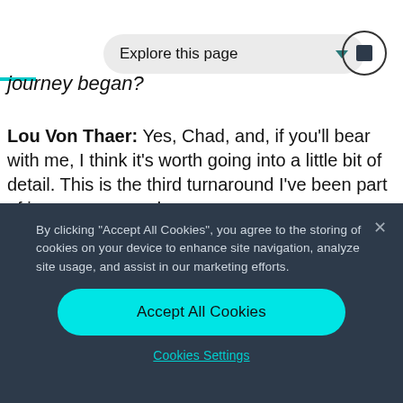[Figure (screenshot): Explore this page dropdown navigation bar with teal arrow and icon circle button]
journey began?
Lou Von Thaer: Yes, Chad, and, if you'll bear with me, I think it's worth going into a little bit of detail. This is the third turnaround I've been part of in my career and
By clicking "Accept All Cookies", you agree to the storing of cookies on your device to enhance site navigation, analyze site usage, and assist in our marketing efforts.
Accept All Cookies
Cookies Settings